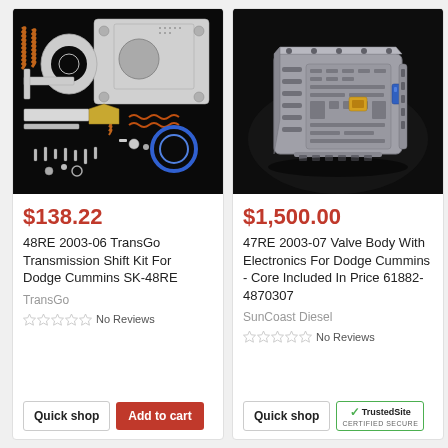[Figure (photo): 48RE 2003-06 TransGo Transmission Shift Kit parts laid out on black background]
$138.22
48RE 2003-06 TransGo Transmission Shift Kit For Dodge Cummins SK-48RE
TransGo
No Reviews
Quick shop
Add to cart
[Figure (photo): 47RE 2003-07 Valve Body with electronics on dark background]
$1,500.00
47RE 2003-07 Valve Body With Electronics For Dodge Cummins - Core Included In Price 61882-4870307
SunCoast Diesel
No Reviews
Quick shop
[Figure (logo): TrustedSite Certified Secure badge]